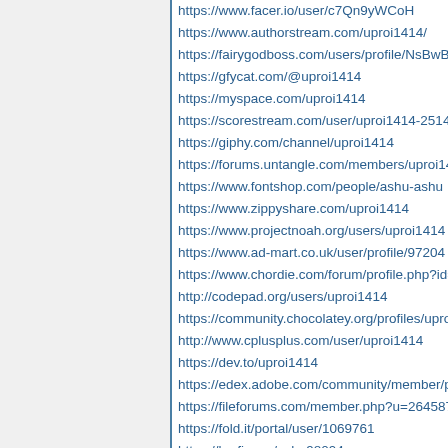https://www.facer.io/user/c7Qn9yWCoH
https://www.authorstream.com/uproi1414/
https://fairygodboss.com/users/profile/NsBwBu0t...
https://gfycat.com/@uproi1414
https://myspace.com/uproi1414
https://scorestream.com/user/uproi1414-2514175...
https://giphy.com/channel/uproi1414
https://forums.untangle.com/members/uproi1414....
https://www.fontshop.com/people/ashu-ashu
https://www.zippyshare.com/uproi1414
https://www.projectnoah.org/users/uproi1414
https://www.ad-mart.co.uk/user/profile/97204
https://www.chordie.com/forum/profile.php?id=135...
http://codepad.org/users/uproi1414
https://community.chocolatey.org/profiles/uproi14...
http://www.cplusplus.com/user/uproi1414
https://dev.to/uproi1414
https://edex.adobe.com/community/member/pyvq...
https://fileforums.com/member.php?u=264587
https://fold.it/portal/user/1069761
https://ko-fi.com/ashu98094
https://www.longisland.com/profile/uproi1414
http://www.afro-ninja.com/account/207673
http://www.gossiprocks.com/forum/members/upro...
http://forums.wolflair.com/member.php?u=08770...